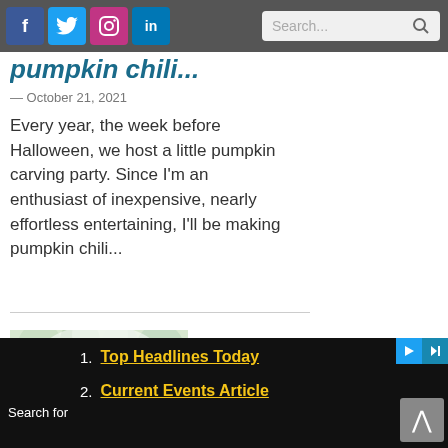Social nav bar with Facebook, Twitter, Instagram, LinkedIn icons and Search bar
pumpkin chili...
— October 21, 2021
Every year, the week before Halloween, we host a little pumpkin carving party. Since I'm an enthusiast of inexpensive, nearly effortless entertaining, I'll be making pumpkin chili...
[Figure (photo): Autumn themed photo showing coffee cups on a wooden board with red and orange fall foliage in the background]
1. Top Headlines Today
2. Current Events Article
Search for